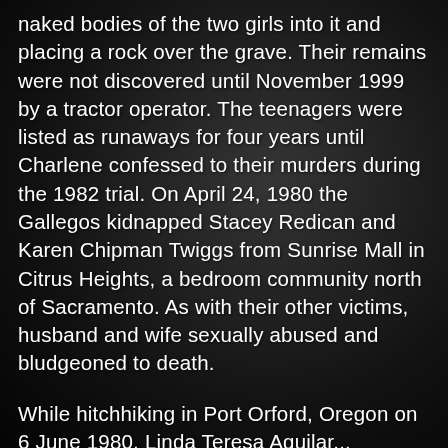naked bodies of the two girls into it and placing a rock over the grave. Their remains were not discovered until November 1999 by a tractor operator. The teenagers were listed as runaways for four years until Charlene confessed to their murders during the 1982 trial. On April 24, 1980 the Gallegos kidnapped Stacey Redican and Karen Chipman Twiggs from Sunrise Mall in Citrus Heights, a bedroom community north of Sacramento. As with their other victims, husband and wife sexually abused and bludgeoned to death.
While hitchhiking in Port Orford, Oregon on 6 June 1980, Linda Teresa Aguilar... disappeared.